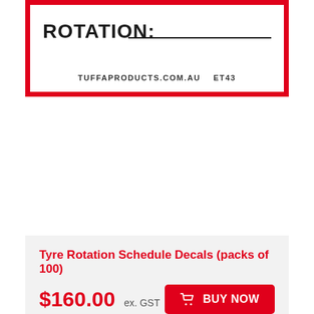[Figure (other): Tyre rotation schedule label card with red border, bold text ROTATION: with underline, and tuffaproducts.com.au ET43 at bottom]
Tyre Rotation Schedule Decals (packs of 100)
$160.00 ex. GST
BUY NOW
[Figure (other): Blue banner with white bold text MAINTENANCE and red circle with up arrow in bottom right corner, and a white box at bottom]